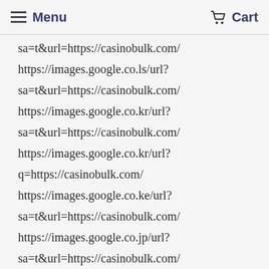Menu  Cart
sa=t&url=https://casinobulk.com/
https://images.google.co.ls/url?
sa=t&url=https://casinobulk.com/
https://images.google.co.kr/url?
sa=t&url=https://casinobulk.com/
https://images.google.co.kr/url?
q=https://casinobulk.com/
https://images.google.co.ke/url?
sa=t&url=https://casinobulk.com/
https://images.google.co.jp/url?
sa=t&url=https://casinobulk.com/
https://images.google.co.in/url?